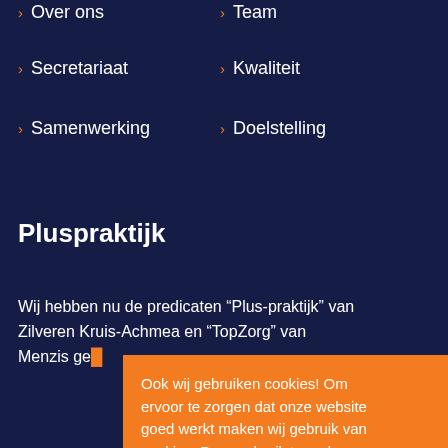> Over ons
> Team
> Secretariaat
> Kwaliteit
> Samenwerking
> Doelstelling
Pluspraktijk
Wij hebben nu de predicaten “Plus-praktijk” van Zilveren Kruis-Achmea en “TopZorg” van Menzis ge…
Ook wij gebruiken cookies! Om ervoor te zorgen dat onze website goed werkt maken wij gebruik van cookies. Door gebruik te maken van onze website ga je akkoord met onze cookies. Voor meer informatie kun je kijken bij ons privacybeleid..
Akkoord | Meer lezen